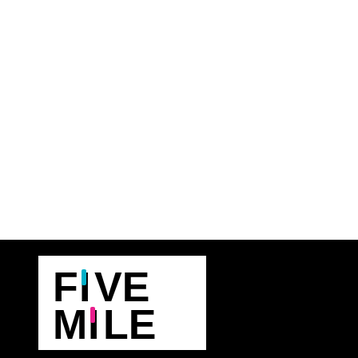[Figure (logo): Five Mile publisher logo: white rectangle on black background, bold black sans-serif text reading 'FIVE MILE' in two lines, with a magenta/pink vertical bar replacing the dot on the 'i' in FIVE and a cyan vertical bar as the 'I' in MILE]